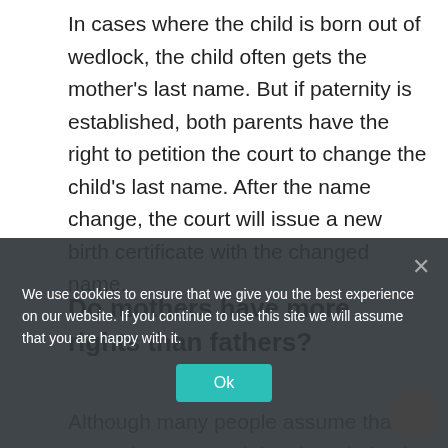In cases where the child is born out of wedlock, the child often gets the mother's last name. But if paternity is established, both parents have the right to petition the court to change the child's last name. After the name change, the court will issue a new birth certificate with the changed name.
Do mothers have more rights than fathers?
Although many people assume that moms have more rights than dads, the fact is that most U.S. custody laws don't give mothers an edge in custody proceedings. However, the fact is that...
We use cookies to ensure that we give you the best experience on our website. If you continue to use this site we will assume that you are happy with it.